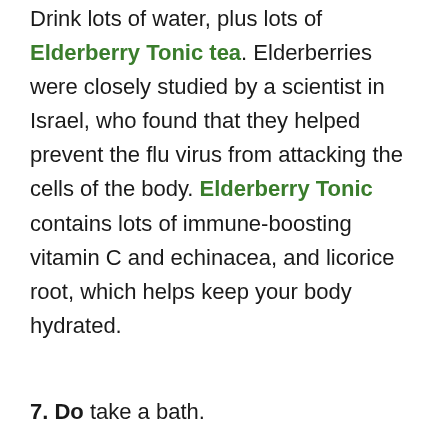Drink lots of water, plus lots of Elderberry Tonic tea. Elderberries were closely studied by a scientist in Israel, who found that they helped prevent the flu virus from attacking the cells of the body. Elderberry Tonic contains lots of immune-boosting vitamin C and echinacea, and licorice root, which helps keep your body hydrated.
7. Do take a bath.
Soaking in the tub is relaxing, and encourages your body to sweat out toxins. To increase both the relaxing benefits of a hot bath, as well as boost the healing